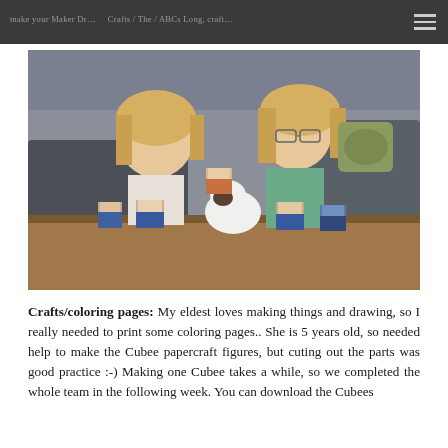make your Maker Dr... ...Crafts / The / ABCs Long, craft...
[Figure (photo): Two smiling young blonde girls lying on a table with papercraft Cubee figures and a cat in front of them, indoors.]
Crafts/coloring pages: My eldest loves making things and drawing, so I really needed to print some coloring pages.. She is 5 years old, so needed help to make the Cubee papercraft figures, but cuting out the parts was good practice :-) Making one Cubee takes a while, so we completed the whole team in the following week. You can download the Cubees